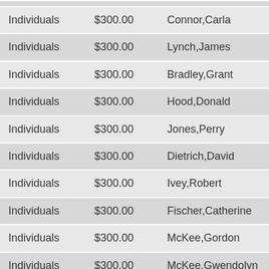| Individuals | $300.00 | Connor,Carla |
| Individuals | $300.00 | Lynch,James |
| Individuals | $300.00 | Bradley,Grant |
| Individuals | $300.00 | Hood,Donald |
| Individuals | $300.00 | Jones,Perry |
| Individuals | $300.00 | Dietrich,David |
| Individuals | $300.00 | Ivey,Robert |
| Individuals | $300.00 | Fischer,Catherine |
| Individuals | $300.00 | McKee,Gordon |
| Individuals | $300.00 | McKee,Gwendolyn |
| Individuals | $300.00 | Smith,Eva |